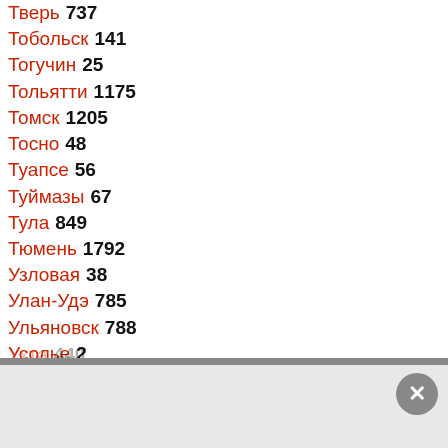Тверь 737
Тобольск 141
Тогучин 25
Тольятти 1175
Томск 1205
Тосно 48
Туапсе 56
Туймазы 67
Тула 849
Тюмень 1792
Узловая 38
Улан-Удэ 785
Ульяновск 788
Усолье 2
Усолье-Сибирское 79
Уссурийск 362
Усть-Лабинск 58
Уфа 1795
Ухта 440